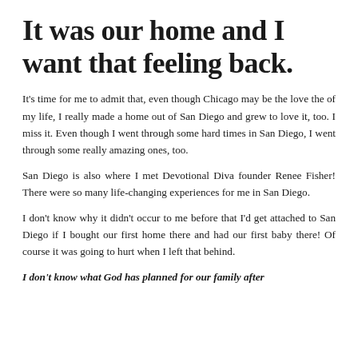It was our home and I want that feeling back.
It's time for me to admit that, even though Chicago may be the love the of my life, I really made a home out of San Diego and grew to love it, too. I miss it. Even though I went through some hard times in San Diego, I went through some really amazing ones, too.
San Diego is also where I met Devotional Diva founder Renee Fisher! There were so many life-changing experiences for me in San Diego.
I don't know why it didn't occur to me before that I'd get attached to San Diego if I bought our first home there and had our first baby there! Of course it was going to hurt when I left that behind.
I don't know what God has planned for our family after